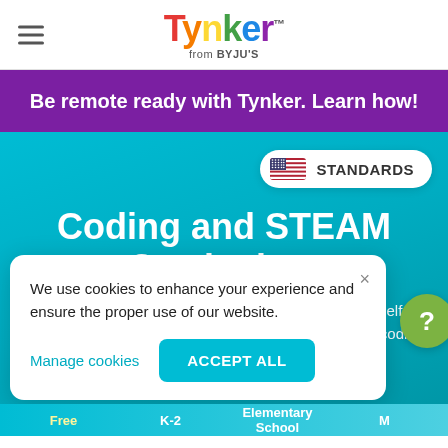Tynker™ from BYJU'S
Be remote ready with Tynker. Learn how!
[Figure (screenshot): STANDARDS button with US flag icon on teal background]
Coding and STEAM Curriculum
We use cookies to enhance your experience and ensure the proper use of our website.
Manage cookies
ACCEPT ALL
nker's self-paced ... plying coding ...
Free   K-2   Elementary School   M